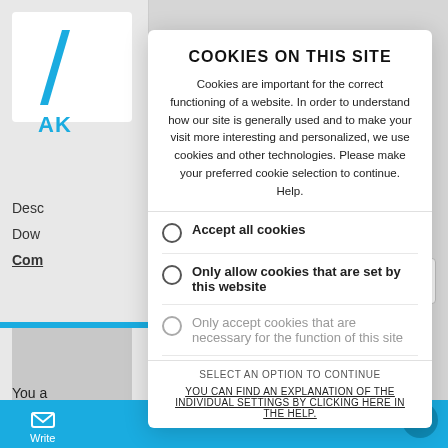COOKIES ON THIS SITE
Cookies are important for the correct functioning of a website. In order to understand how our site is generally used and to make your visit more interesting and personalized, we use cookies and other technologies. Please make your preferred cookie selection to continue. Help.
Accept all cookies
Only allow cookies that are set by this website
Only accept cookies that are necessary for the function of this site
SELECT AN OPTION TO CONTINUE
YOU CAN FIND AN EXPLANATION OF THE INDIVIDUAL SETTINGS BY CLICKING HERE IN THE HELP.